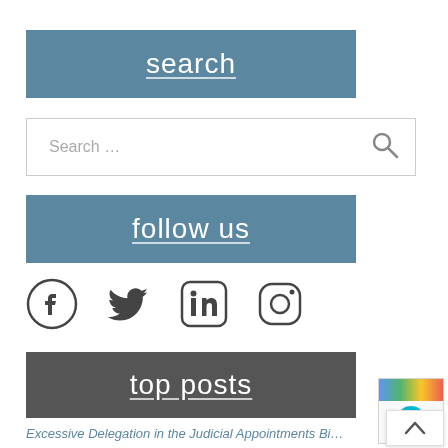search
Search …
follow us
[Figure (infographic): Social media icons: Facebook, Twitter, LinkedIn, Instagram]
top posts
Excessive Delegation in the Judicial Appointments Bi…